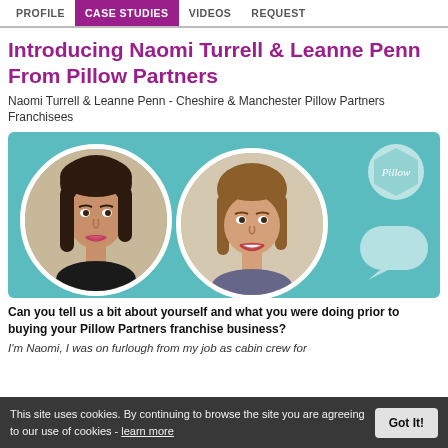PROFILE | CASE STUDIES | VIDEOS | REQUEST
Introducing Naomi Turrell & Leanne Penn From Pillow Partners
Naomi Turrell & Leanne Penn - Cheshire & Manchester Pillow Partners Franchisees
[Figure (photo): Two circular portrait photos of Naomi Turrell and Leanne Penn on a teal background, with a Pillow hexagon logo and speech bubble]
Can you tell us a bit about yourself and what you were doing prior to buying your Pillow Partners franchise business?
I'm Naomi, I was on furlough from my job as cabin crew for
This site uses cookies. By continuing to browse the site you are agreeing to our use of cookies - learn more